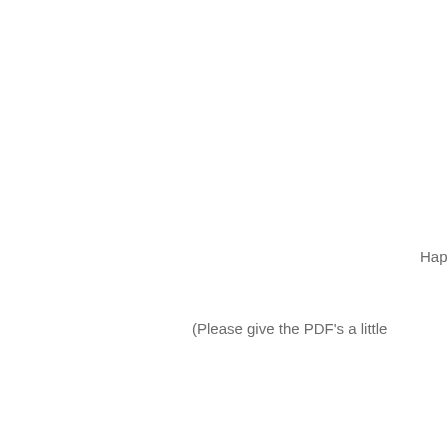Hap
(Please give the PDF's a little
Cli
R
Cli